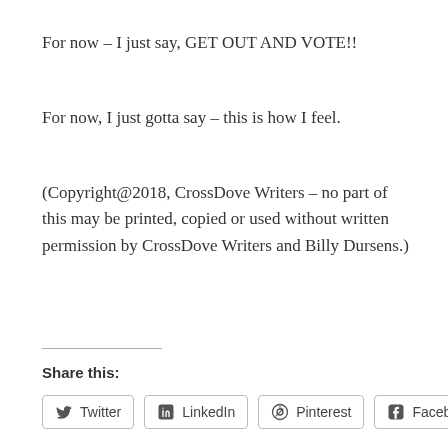For now – I just say, GET OUT AND VOTE!!
For now, I just gotta say – this is how I feel.
(Copyright@2018, CrossDove Writers – no part of this may be printed, copied or used without written permission by CrossDove Writers and Billy Dursens.)
Share this:
Twitter  LinkedIn  Pinterest  Facebook